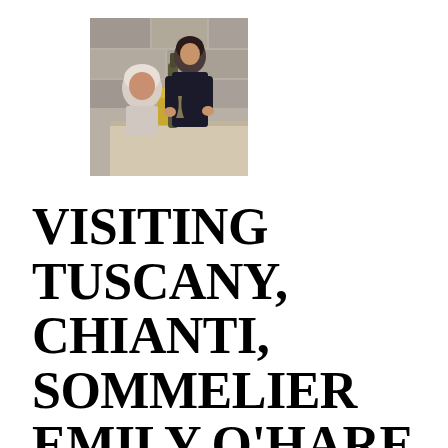[Figure (photo): A woman in dark clothing pouring wine or serving drinks to an older man seated outdoors, with stone wall background]
VISITING TUSCANY, CHIANTI, SOMMELIER EMILY O'HARE AND THE WORLD'S MOST